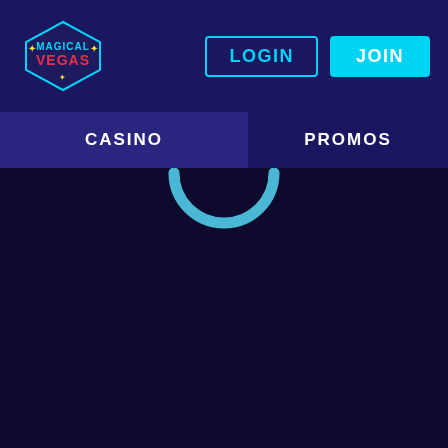Magical Vegas - LOGIN | JOIN
[Figure (logo): Magical Vegas logo - hexagonal badge with stars and text MAGICAL VEGAS]
LOGIN
JOIN
CASINO
PROMOS
[Figure (other): Loading spinner - partial circle arc in cyan/teal color indicating page loading state]